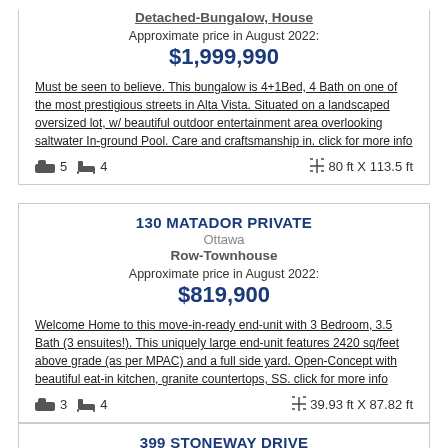Detached-Bungalow, House
Approximate price in August 2022:
$1,999,990
Must be seen to believe. This bungalow is 4+1Bed, 4 Bath on one of the most prestigious streets in Alta Vista. Situated on a landscaped oversized lot, w/ beautiful outdoor entertainment area overlooking saltwater In-ground Pool. Care and craftsmanship in. click for more info
5 bedrooms, 4 bathrooms, 80 ft X 113.5 ft
130 MATADOR PRIVATE
Ottawa
Row-Townhouse
Approximate price in August 2022:
$819,900
Welcome Home to this move-in-ready end-unit with 3 Bedroom, 3.5 Bath (3 ensuites!). This uniquely large end-unit features 2420 sq/feet above grade (as per MPAC) and a full side yard. Open-Concept with beautiful eat-in kitchen, granite countertops, SS. click for more info
3 bedrooms, 4 bathrooms, 39.93 ft X 87.82 ft
399 STONEWAY DRIVE